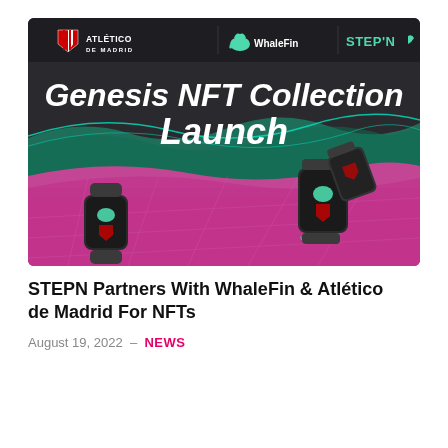[Figure (illustration): Promotional banner for Genesis NFT Collection Launch featuring Atlético de Madrid, WhaleFin, and STEPN logos at top. Dark background with colorful wave landscape in green, teal, and pink/magenta. Two 3D rendered black cylindrical fitness tracker devices (smartbands) float on either side. Bold white italic text reads 'Genesis NFT Collection Launch'.]
STEPN Partners With WhaleFin & Atlético de Madrid For NFTs
August 19, 2022 – NEWS